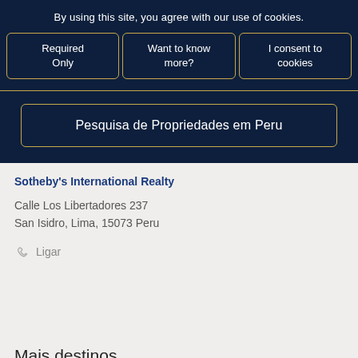By using this site, you agree with our use of cookies.
Required Only
Want to know more?
I consent to cookies
Pesquisa de Propriedades em Peru
Sotheby's International Realty
Calle Los Libertadores 237
San Isidro, Lima, 15073 Peru
Ligar
Mais destinos